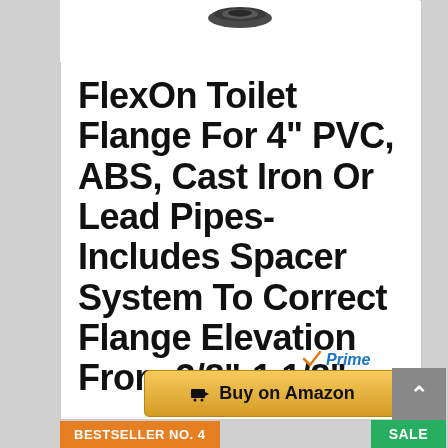[Figure (photo): Partial view of a dark grey PVC toilet flange product, showing the top rim of the flange against a white background]
FlexOn Toilet Flange For 4" PVC, ABS, Cast Iron Or Lead Pipes- Includes Spacer System To Correct Flange Elevation From 3/8"-1 1/8"
[Figure (logo): Amazon Prime logo with orange checkmark and blue italic 'Prime' text]
Buy on Amazon
BESTSELLER NO. 4
SALE